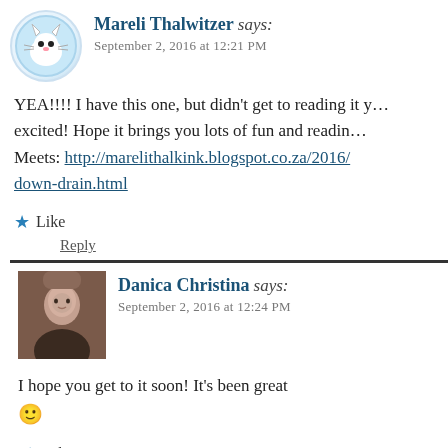Mareli Thalwitzer says: September 2, 2016 at 12:21 PM
YEA!!!! I have this one, but didn't get to reading it yet... so excited! Hope it brings you lots of fun and reading Meets: http://marelithalkink.blogspot.co.za/2016/... down-drain.html
Like
Reply
Danica Christina says: September 2, 2016 at 12:24 PM
I hope you get to it soon! It's been great 🙂
Like